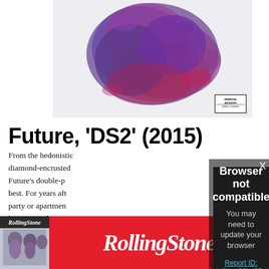[Figure (photo): Album art for Future DS2 (2015) — abstract purple and pink cloud-like sculpture on white background with Parental Advisory label]
Future, 'DS2' (2015)
From the hedonistic diamond-encrusted Future's double-p best. For years aft party or apartment by DS2, and ever enjoyed among ra
[Figure (screenshot): Browser not compatible modal overlay. Text: 'Browser not compatible. You may need to update your browser. Report ID: 1gbl3jroa26jpt27sbq']
[Figure (logo): Rolling Stone magazine advertisement banner with red background, Rolling Stone logo in white italic text, and magazine cover thumbnail on left]